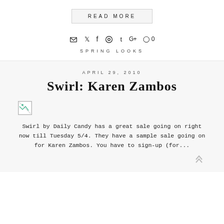READ MORE
✉ 𝕏 f ⊕ t G+ ○ 0
SPRING LOOKS
APRIL 29, 2010
Swirl: Karen Zambos
[Figure (photo): Broken image placeholder thumbnail]
Swirl by Daily Candy has a great sale going on right now till Tuesday 5/4. They have a sample sale going on for Karen Zambos. You have to sign-up (for...